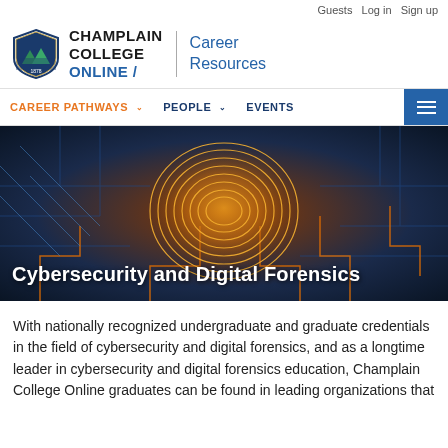Guests  Log in  Sign up
[Figure (logo): Champlain College Online / Career Resources logo with shield emblem]
CAREER PATHWAYS  PEOPLE  EVENTS
[Figure (photo): Digital fingerprint on circuit board background — Cybersecurity and Digital Forensics hero image]
Cybersecurity and Digital Forensics
With nationally recognized undergraduate and graduate credentials in the field of cybersecurity and digital forensics, and as a longtime leader in cybersecurity and digital forensics education, Champlain College Online graduates can be found in leading organizations that